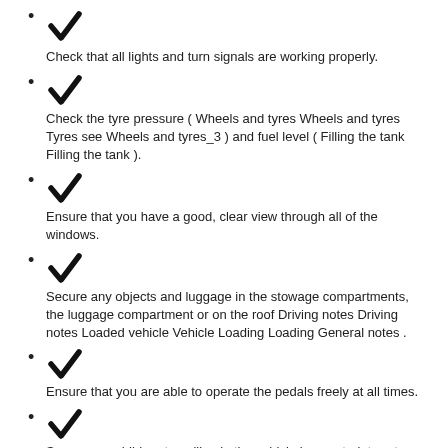Check that all lights and turn signals are working properly.
Check the tyre pressure ( Wheels and tyres Wheels and tyres Tyres see Wheels and tyres_3 ) and fuel level ( Filling the tank Filling the tank ).
Ensure that you have a good, clear view through all of the windows.
Secure any objects and luggage in the stowage compartments, the luggage compartment or on the roof Driving notes Driving notes Loaded vehicle Vehicle Loading Loading General notes .
Ensure that you are able to operate the pedals freely at all times.
Secure any children travelling in the vehicle in a restraint system suitable